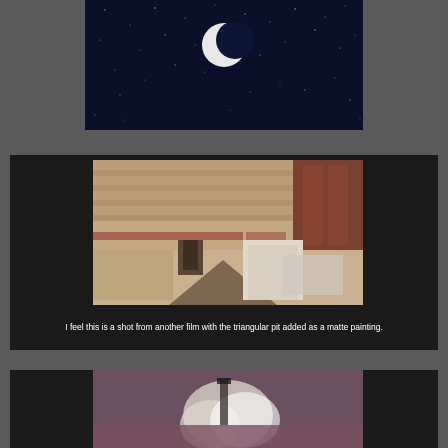[Figure (photo): Night sky with crescent moon and stars on dark blue background]
[Figure (photo): Aerial view of a large crowd gathered in an ancient arena or colosseum, with a triangular pit in the foreground and large statues visible on the right]
I feel this is a shot from another film with the triangular pit added as a matte painting.
[Figure (photo): Partially visible image showing an explosion or smoke cloud, partially cut off at the bottom of the page]